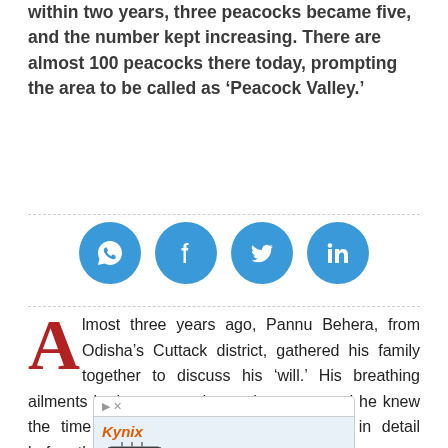within two years, three peacocks became five, and the number kept increasing. There are almost 100 peacocks there today, prompting the area to be called as 'Peacock Valley.'
[Figure (infographic): Row of four blue social media share buttons (WhatsApp, Facebook, Twitter, LinkedIn) as circular icons]
Almost three years ago, Pannu Behera, from Odisha's Cuttack district, gathered his family together to discuss his 'will.' His breathing ailments had aggravated over the years, and he knew the time had come to explain everything in detail before the inevitable happens.
[Figure (screenshot): Kynix advertisement banner showing 'Over 1000+ Integrated circuit' with a chip image]